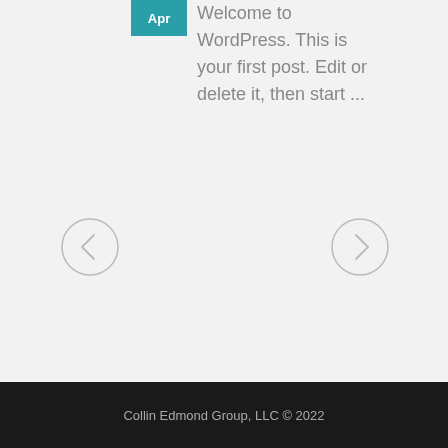[Figure (other): Teal/cyan colored badge rectangle with text 'Apr']
Welcome to WordPress. This is your first post. Edit or delete it, then start ...
[Figure (other): Left navigation arrow button (circle with < chevron)]
[Figure (other): Right navigation arrow button (circle with > chevron)]
Collin Edmond Group, LLC © 2022